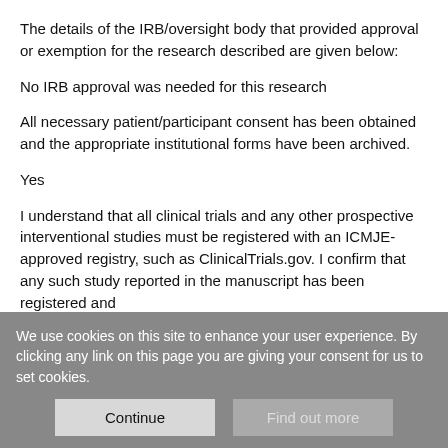The details of the IRB/oversight body that provided approval or exemption for the research described are given below:
No IRB approval was needed for this research
All necessary patient/participant consent has been obtained and the appropriate institutional forms have been archived.
Yes
I understand that all clinical trials and any other prospective interventional studies must be registered with an ICMJE-approved registry, such as ClinicalTrials.gov. I confirm that any such study reported in the manuscript has been registered and
We use cookies on this site to enhance your user experience. By clicking any link on this page you are giving your consent for us to set cookies.